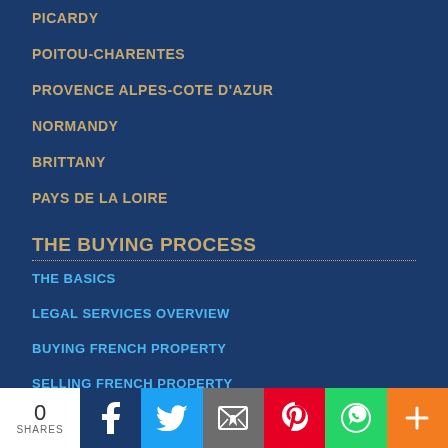PICARDY
POITOU-CHARENTES
PROVENCE ALPES-COTE D'AZUR
NORMANDY
BRITTANY
PAYS DE LA LOIRE
THE BUYING PROCESS
THE BASICS
LEGAL SERVICES OVERVIEW
BUYING FRENCH PROPERTY
SELLING FRENCH PROPERTY
SECOND HOME OWNERSHIP
NEW BUILDS
0 SHARES | Facebook | Twitter | Email | Pinterest | WhatsApp | More